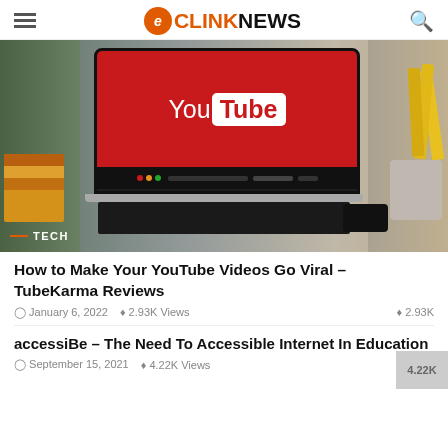eCLINKNEWS
[Figure (photo): Laptop with YouTube logo on red screen, displayed on a desk with books, plants, and pencils in background. TECH badge overlay in lower left.]
How to Make Your YouTube Videos Go Viral – TubeKarma Reviews
January 6, 2022  2.93K Views  2.93K
accessiBe – The Need To Accessible Internet In Education
September 15, 2021  4.22K Views  4.22K